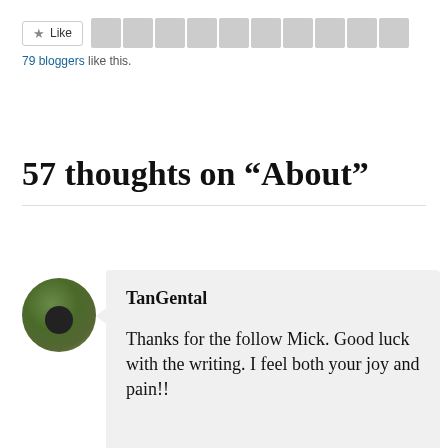[Figure (screenshot): Like button with star icon and row of 10 blogger avatar thumbnails]
79 bloggers like this.
57 thoughts on “About”
[Figure (photo): Circular avatar of commenter TanGental showing a person with a dog outdoors]
TanGental
Thanks for the follow Mick. Good luck with the writing. I feel both your joy and pain!!